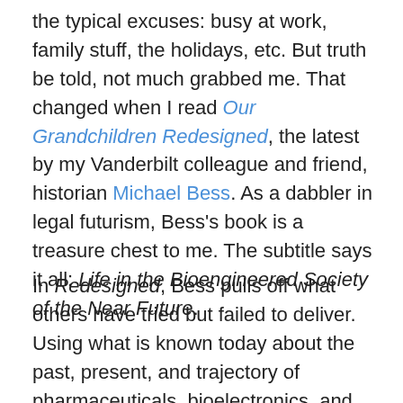the typical excuses: busy at work, family stuff, the holidays, etc. But truth be told, not much grabbed me. That changed when I read Our Grandchildren Redesigned, the latest by my Vanderbilt colleague and friend, historian Michael Bess. As a dabbler in legal futurism, Bess's book is a treasure chest to me. The subtitle says it all: Life in the Bioengineered Society of the Near Future.
In Redesigned, Bess pulls off what others have tried but failed to deliver. Using what is known today about the past, present, and trajectory of pharmaceuticals, bioelectronics, and genetics and epigenetics (plus nanotechnology, AI, robotics, and synthetic biology), Bess constructs plausible scenarios of how humans will use these technologies to “improve” on our biology and how society will respond. There is no science fiction in the book, no extreme claims,